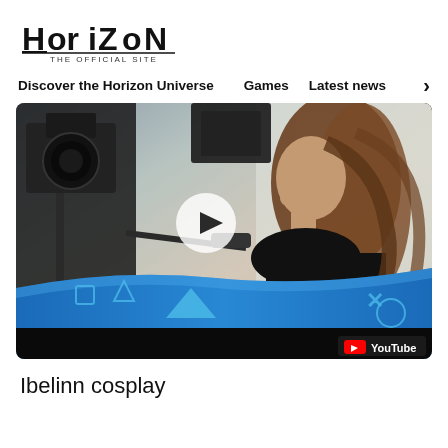[Figure (logo): Horizon - The Official Site logo with stylized text]
Discover the Horizon Universe   Games   Latest news >
[Figure (screenshot): YouTube video thumbnail showing a woman with curly hair looking at camera equipment, with PS4 branding bar at bottom and play button overlay. Features PlayStation 4 logo and YouTube badge.]
Ibelinn cosplay